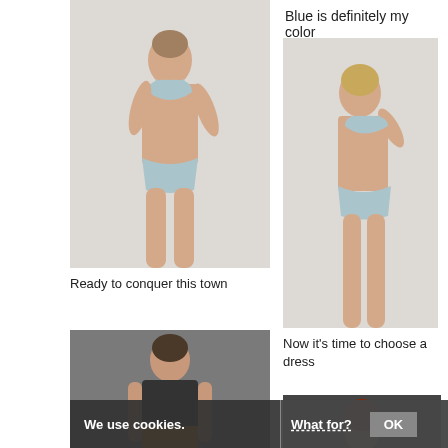[Figure (photo): Model wearing light blue/grey lace bra and bikini underwear, standing against neutral background, arms crossed]
Blue is definitely my color
[Figure (photo): Blonde model wearing light blue/grey lace bra and bikini underwear, touching her neck/collar, against neutral background]
Ready to conquer this town
Now it's time to choose a dress
[Figure (photo): Model in grey background looking down, wearing dark top and mustard/yellow clothing]
[Figure (photo): Partial view of a model with red/auburn hair against dark background]
We use cookies. What for? OK